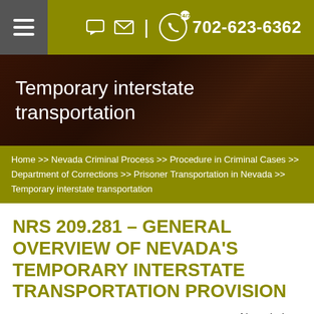☰  702-623-6362
Temporary interstate transportation
Home >> Nevada Criminal Process >> Procedure in Criminal Cases >> Department of Corrections >> Prisoner Transportation in Nevada >> Temporary interstate transportation
NRS 209.281 – GENERAL OVERVIEW OF NEVADA'S TEMPORARY INTERSTATE TRANSPORTATION PROVISION
Nevada law